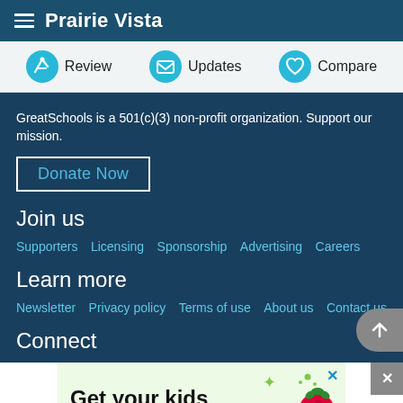Prairie Vista
Review
Updates
Compare
GreatSchools is a 501(c)(3) non-profit organization. Support our mission.
Donate Now
Join us
Supporters   Licensing   Sponsorship   Advertising   Careers
Learn more
Newsletter   Privacy policy   Terms of use   About us   Contact us
Connect
[Figure (illustration): Advertisement banner with green background showing text 'Get your kids into coding!' with raspberry logo and decorative icons]
ADVERTISEMENT